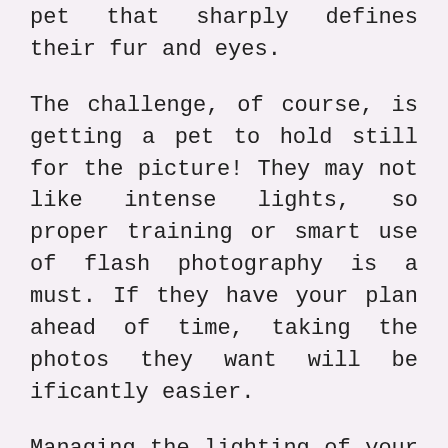pet that sharply defines their fur and eyes.
The challenge, of course, is getting a pet to hold still for the picture! They may not like intense lights, so proper training or smart use of flash photography is a must. If they have your plan ahead of time, taking the photos they want will be ificantly easier.
Managing the lighting of your set is by far the most crucial part of taking low key photographs. Setting up low key lighting requires the right gear, camera settingsand the ability to control your subject. The primary pieces of gear you need for taking low key images are a full-frame camera, a fast lens, and a light source typically a flash device. Most photographers also need either a dark background if indoors or a light modifier such as a softbox to control the lighting further. Tripods are optional for this type of photography but useful to